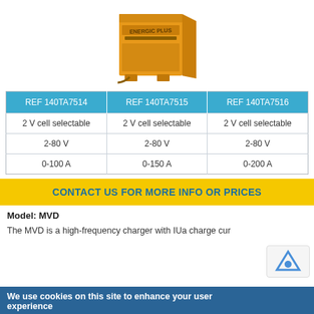[Figure (photo): Yellow industrial battery charger unit with 'ENERGIC PLUS' branding on the front panel, rectangular cabinet style]
| REF 140TA7514 | REF 140TA7515 | REF 140TA7516 |
| --- | --- | --- |
| 2 V cell selectable | 2 V cell selectable | 2 V cell selectable |
| 2-80 V | 2-80 V | 2-80 V |
| 0-100 A | 0-150 A | 0-200 A |
CONTACT US FOR MORE INFO OR PRICES
Model: MVD
The MVD is a high-frequency charger with IUa charge cur...
We use cookies on this site to enhance your user experience